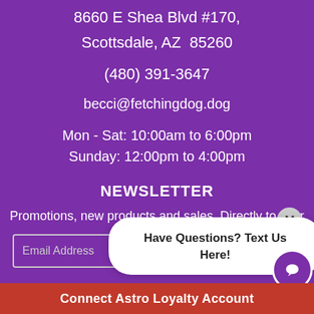8660 E Shea Blvd #170, Scottsdale, AZ  85260
(480) 391-3647
becci@fetchingdog.dog
Mon - Sat: 10:00am to 6:00pm
Sunday: 12:00pm to 4:00pm
NEWSLETTER
Promotions, new products and sales. Directly to your
Email Address
[Figure (screenshot): Popup bubble with text 'Have Questions? Text Us Here!' and a close button (X), plus a purple chat icon circle]
Connect Astro Loyalty Account